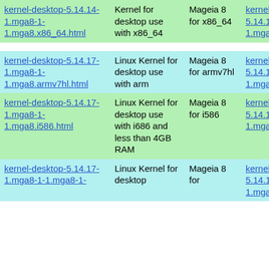| Package | Description | Repository | RPM |
| --- | --- | --- | --- |
| kernel-desktop-5.14.14-1.mga8-1-1.mga8.x86_64.html | Kernel for desktop use with x86_64 | Mageia 8 for x86_64 | kernel-desktop-5.14.14-1.mga8-1-1.mga8.x86_64.rpm |
| kernel-desktop-5.14.17-1.mga8-1-1.mga8.armv7hl.html | Linux Kernel for desktop use with arm | Mageia 8 for armv7hl | kernel-desktop-5.14.17-1.mga8-1-1.mga8.armv7hl.rpm |
| kernel-desktop-5.14.17-1.mga8-1-1.mga8.i586.html | Linux Kernel for desktop use with i686 and less than 4GB RAM | Mageia 8 for i586 | kernel-desktop-5.14.17-1.mga8-1-1.mga8.i586.rpm |
| kernel-desktop-5.14.17-1.mga8-1-1.mga8..html | Linux Kernel for desktop | Mageia 8 for | kernel-desktop-5.14.17-1.mga8-1-1.mga8. |